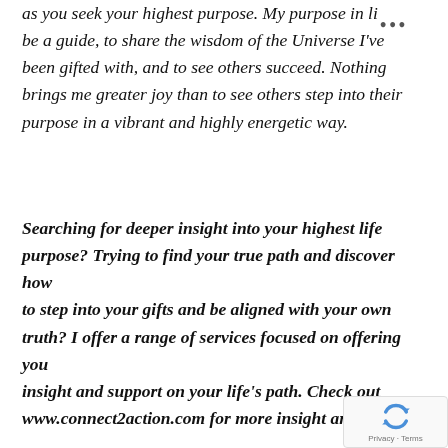as you seek your highest purpose. My purpose in li … be a guide, to share the wisdom of the Universe I've been gifted with, and to see others succeed. Nothing brings me greater joy than to see others step into their purpose in a vibrant and highly energetic way.
Searching for deeper insight into your highest life purpose? Trying to find your true path and discover how to step into your gifts and be aligned with your own truth? I offer a range of services focused on offering you insight and support on your life's path. Check out www.connect2action.com for more insight and ser…